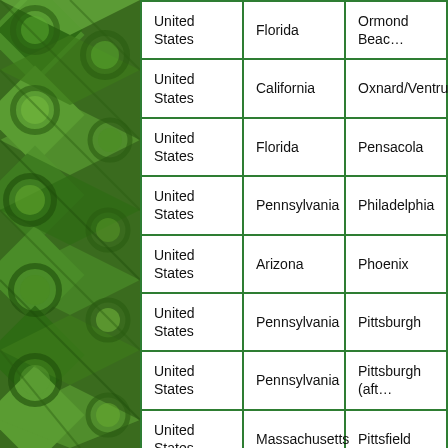[Figure (photo): Aerial satellite photograph of agricultural fields with circular irrigation patterns in shades of green, viewed from above.]
| United States | Florida | Ormond Beac… |
| United States | California | Oxnard/Ventru… |
| United States | Florida | Pensacola |
| United States | Pennsylvania | Philadelphia |
| United States | Arizona | Phoenix |
| United States | Pennsylvania | Pittsburgh |
| United States | Pennsylvania | Pittsburgh (aft… |
| United States | Massachusetts | Pittsfield |
| United States | California | Placerville |
| United States | Idaho | Pocatello |
| United States | Florida | Port St. Lucie |
| United States | Maine | Portland |
| United States | Oregon | Portland |
| United States | New Hampshire | Portsmouth |